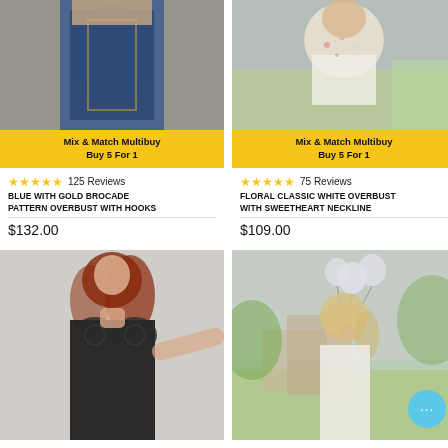[Figure (photo): Woman wearing a blue with gold brocade pattern overbust corset with hooks]
Mix & Match Multibuy
Buy 5 For 1
★★★★★ 125 Reviews
BLUE WITH GOLD BROCADE PATTERN OVERBUST WITH HOOKS
$132.00
[Figure (photo): Woman wearing a floral classic white overbust corset with sweetheart neckline, outdoors]
Mix & Match Multibuy
Buy 5 For 1
★★★★★ 75 Reviews
FLORAL CLASSIC WHITE OVERBUST WITH SWEETHEART NECKLINE
$109.00
[Figure (photo): Woman with red hair wearing a black lace overbust corset]
[Figure (photo): Blonde woman in white corset holding balloons, outdoors in a garden]